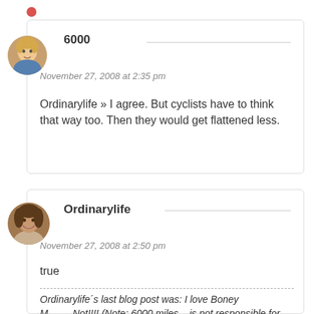[Figure (other): Red dot indicator icon]
[Figure (photo): Avatar photo of user 6000 - child with light hair]
6000
November 27, 2008 at 2:35 pm
Ordinarylife » I agree. But cyclists have to think that way too. Then they would get flattened less.
[Figure (photo): Avatar photo of user Ordinarylife - woman smiling]
Ordinarylife
November 27, 2008 at 2:50 pm
true
Ordinarylife´s last blog post was: I love Boney M.........Not!!!! (Note: 6000 miles... is not responsible for